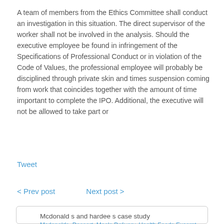A team of members from the Ethics Committee shall conduct an investigation in this situation. The direct supervisor of the worker shall not be involved in the analysis. Should the executive employee be found in infringement of the Specifications of Professional Conduct or in violation of the Code of Values, the professional employee will probably be disciplined through private skin and times suspension coming from work that coincides together with the amount of time important to complete the IPO. Additional, the executive will not be allowed to take part or
Tweet
< Prev post    Next post >
Mcdonald s and hardee s case study
Mcdonalds, Dessert, Meals Delivery, Health Foods Excerpt